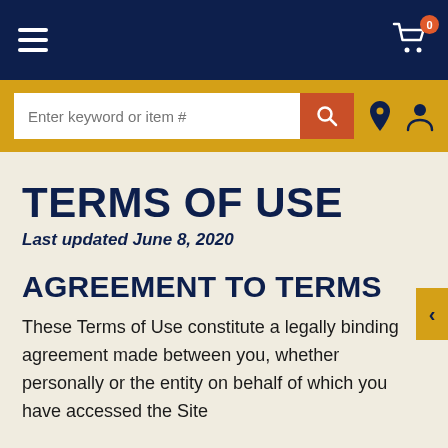Navigation bar with hamburger menu and cart (0 items)
Search bar: Enter keyword or item #
TERMS OF USE
Last updated June 8, 2020
AGREEMENT TO TERMS
These Terms of Use constitute a legally binding agreement made between you, whether personally or the entity on behalf of which you have accessed the Site